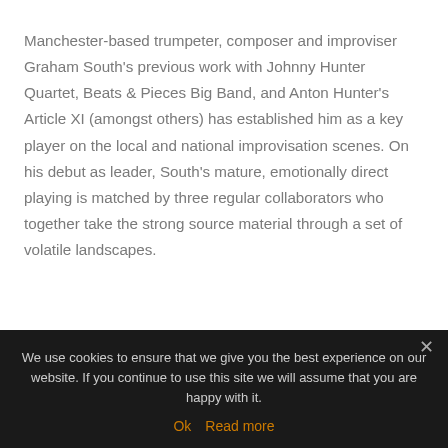Manchester-based trumpeter, composer and improviser Graham South's previous work with Johnny Hunter Quartet, Beats & Pieces Big Band, and Anton Hunter's Article XI (amongst others) has established him as a key player on the local and national improvisation scenes. On his debut as leader, South's mature, emotionally direct playing is matched by three regular collaborators who together take the strong source material through a set of volatile landscapes.
We use cookies to ensure that we give you the best experience on our website. If you continue to use this site we will assume that you are happy with it.